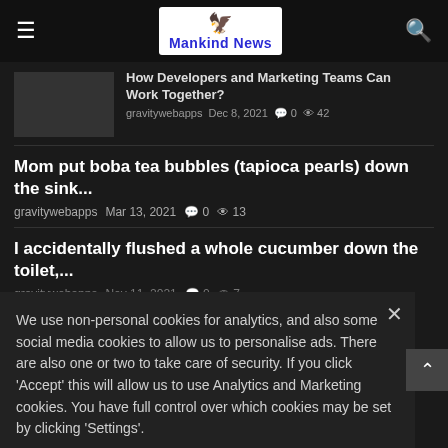Mankind News
How Developers and Marketing Teams Can Work Together?
gravitywebapps  Dec 8, 2021  0  42
Mom put boba tea bubbles (tapioca pearls) down the sink...
gravitywebapps  Mar 13, 2021  0  13
I accidentally flushed a whole cucumber down the toilet,...
gravitywebapps  Nov 11, 2021  0  7
We use non-personal cookies for analytics, and also some social media cookies to allow us to personalise ads. There are also one or two to take care of security. If you click 'Accept' this will allow us to use Analytics and Marketing cookies. You have full control over which cookies may be set by clicking 'Settings'.
Best Countries to Hire a Remote Java Developer in 2021
gravitywebapps  Jul 31, 2021  0  1
WORLD'S LARGEST SERVICE MARKETPLACE